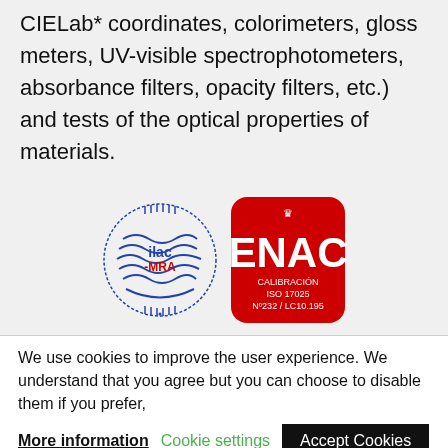CIELab* coordinates, colorimeters, gloss meters, UV-visible spectrophotometers, absorbance filters, opacity filters, etc.) and tests of the optical properties of materials.
[Figure (logo): Two certification logos: ilac-MRA circular blue stamp logo and ENAC red rounded square logo with text CALIBRACIÓN ISO 17025 Nº232 / LC10.195]
We use cookies to improve the user experience. We understand that you agree but you can choose to disable them if you prefer,
More information | Cookie settings | Accept Cookies